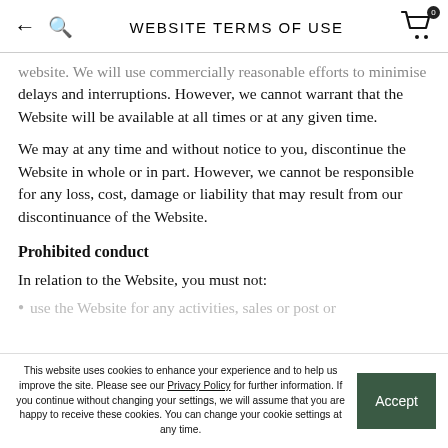WEBSITE TERMS OF USE
website. We will use commercially reasonable efforts to minimise delays and interruptions. However, we cannot warrant that the Website will be available at all times or at any given time.
We may at any time and without notice to you, discontinue the Website in whole or in part. However, we cannot be responsible for any loss, cost, damage or liability that may result from our discontinuance of the Website.
Prohibited conduct
In relation to the Website, you must not:
use the Website for any activities, sales or post or
This website uses cookies to enhance your experience and to help us improve the site. Please see our Privacy Policy for further information. If you continue without changing your settings, we will assume that you are happy to receive these cookies. You can change your cookie settings at any time.